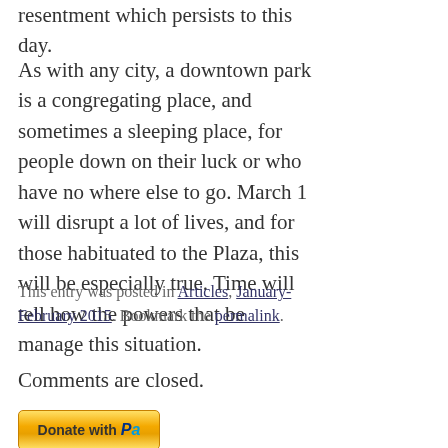resentment which persists to this day.
As with any city, a downtown park is a congregating place, and sometimes a sleeping place, for people down on their luck or who have no where else to go. March 1 will disrupt a lot of lives, and for those habituated to the Plaza, this will be especially true. Time will tell how the powers that be manage this situation.
This entry was posted in Articles, January-February 2015. Bookmark the permalink.
Comments are closed.
[Figure (other): PayPal Donate button]